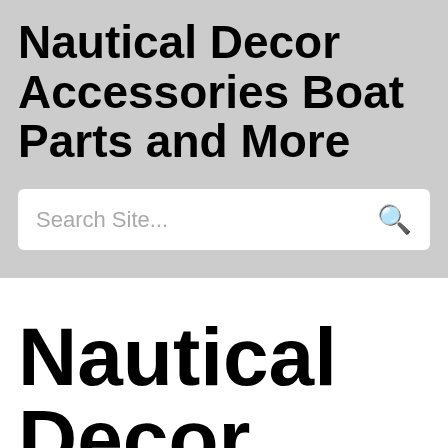Nautical Decor Accessories Boat Parts and More
Search Site...
Nautical Decor